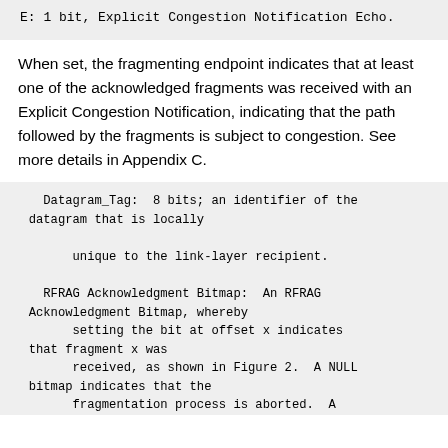E:  1 bit, Explicit Congestion Notification Echo.
When set, the fragmenting endpoint indicates that at least one of the acknowledged fragments was received with an Explicit Congestion Notification, indicating that the path followed by the fragments is subject to congestion. See more details in Appendix C.
Datagram_Tag:  8 bits; an identifier of the datagram that is locally

        unique to the link-layer recipient.

    RFRAG Acknowledgment Bitmap:  An RFRAG Acknowledgment Bitmap, whereby
        setting the bit at offset x indicates that fragment x was
        received, as shown in Figure 2.  A NULL bitmap indicates that the
        fragmentation process is aborted.  A